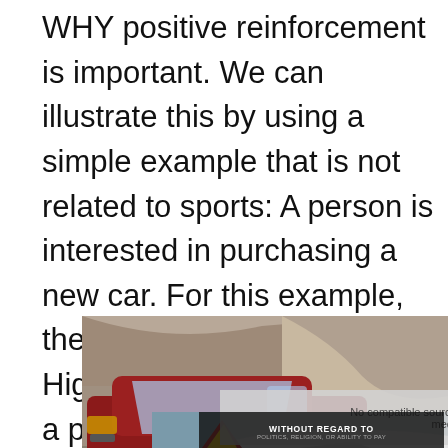WHY positive reinforcement is important. We can illustrate this by using a simple example that is not related to sports: A person is interested in purchasing a new car. For this example, the car is a red Toyota Highlander. The person has a picture in her head
[Figure (photo): Photo of a red Toyota Highlander SUV on a rocky terrain, partially overlapping with text]
[Figure (photo): Photo of an airplane being loaded, with a 'No compatible source was found for this media' overlay and a 'WITHOUT REGARD TO POLITICS, RELIGION, OR ABILITY TO PAY' banner]